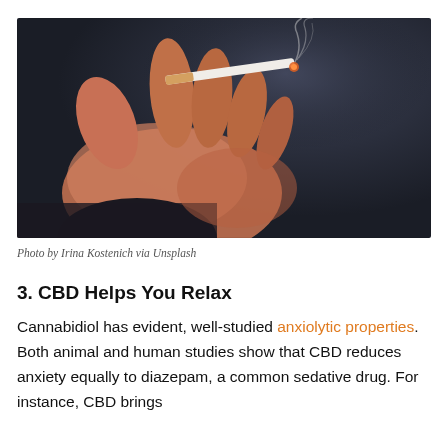[Figure (photo): A hand holding a lit cigarette with smoke rising, photographed against a dark blurred background. Photo by Irina Kostenich via Unsplash.]
Photo by Irina Kostenich via Unsplash
3. CBD Helps You Relax
Cannabidiol has evident, well-studied anxiolytic properties. Both animal and human studies show that CBD reduces anxiety equally to diazepam, a common sedative drug. For instance, CBD brings